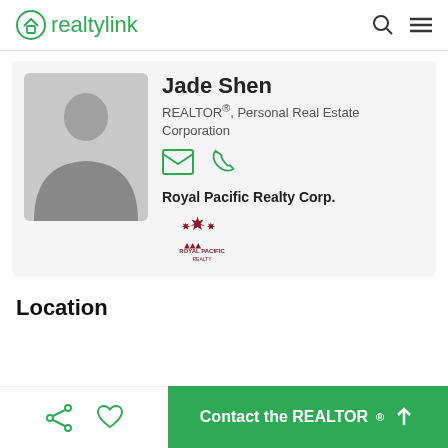realtylink
Jade Shen
REALTOR®, Personal Real Estate Corporation
Royal Pacific Realty Corp.
[Figure (logo): Royal Pacific Realty logo with maple leaf]
Location
Contact the REALTOR®